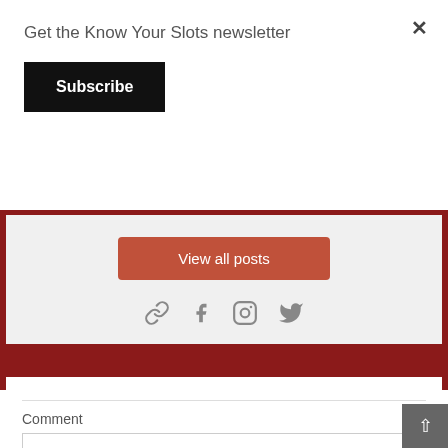Get the Know Your Slots newsletter
Subscribe
View all posts
[Figure (illustration): Social media icons: link, Facebook, Instagram, Twitter in gray]
Leave a Comment
Comment